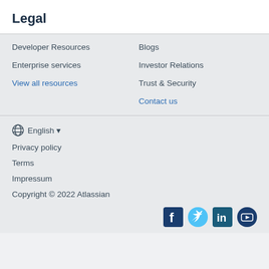Legal
Developer Resources
Enterprise services
View all resources
Blogs
Investor Relations
Trust & Security
Contact us
⊕ English ▾
Privacy policy
Terms
Impressum
Copyright © 2022 Atlassian